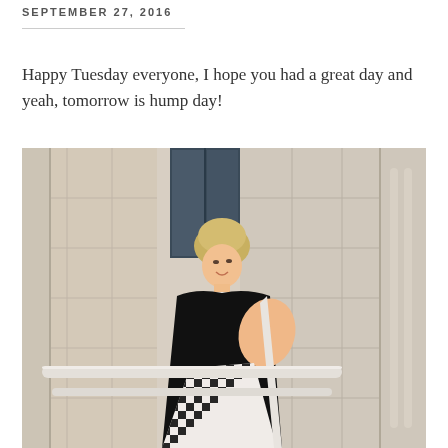SEPTEMBER 27, 2016
Happy Tuesday everyone, I hope you had a great day and yeah, tomorrow is hump day!
[Figure (photo): A blonde woman in a black dress with houndstooth pattern posing against a stone building exterior with large windows and white railings, looking back over her shoulder.]